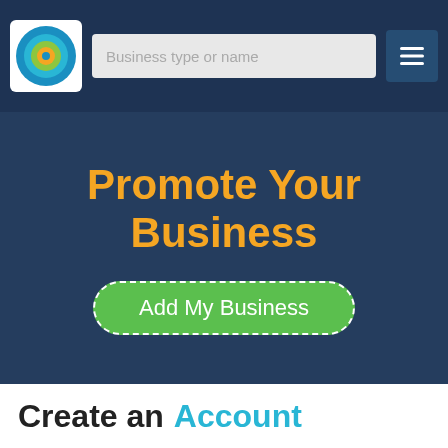[Figure (screenshot): Navigation bar with circular logo, search bar with placeholder 'Business type or name', and hamburger menu button]
Promote Your Business
Add My Business
Create an Account